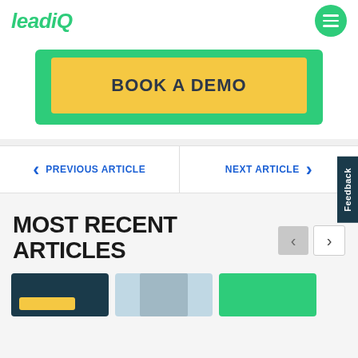leadiQ
[Figure (screenshot): BOOK A DEMO button with yellow background inside green bordered container]
PREVIOUS ARTICLE
NEXT ARTICLE
MOST RECENT ARTICLES
[Figure (photo): Three article thumbnail images at the bottom of the page]